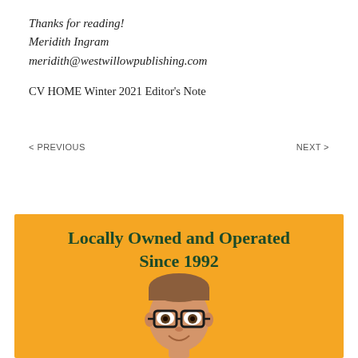Thanks for reading!
Meridith Ingram
meridith@westwillowpublishing.com
CV HOME Winter 2021 Editor's Note
< PREVIOUS
NEXT >
[Figure (photo): Advertisement with yellow/orange background showing text 'Locally Owned and Operated Since 1992' in dark green bold serif font, with a photo of a smiling young boy wearing black glasses below the text.]